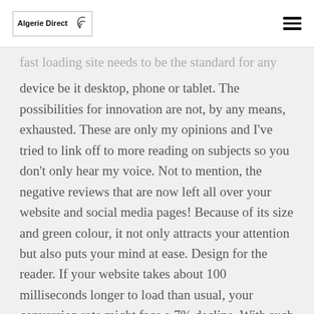Algerie Direct
fast loading site needs to be the standard for any device be it desktop, phone or tablet. The possibilities for innovation are not, by any means, exhausted. These are only my opinions and I've tried to link off to more reading on subjects so you don't only hear my voice. Not to mention, the negative reviews that are now left all over your website and social media pages! Because of its size and green colour, it not only attracts your attention but also puts your mind at ease. Design for the reader. If your website takes about 100 milliseconds longer to load than usual, your conversion rate might face a 7% decline. With such principles, your website can hold the attention of your readers and viewers to retain them on your web pages. Ask them to prepare documentation and manuals in plain, easy to understand the text. That's a